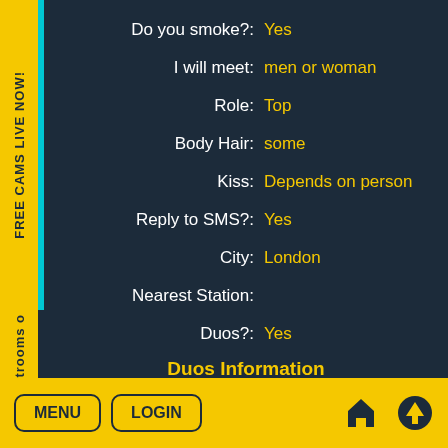FREE CAMS LIVE NOW!
Chatrooms o
Do you smoke?: Yes
I will meet: men or woman
Role: Top
Body Hair: some
Kiss: Depends on person
Reply to SMS?: Yes
City: London
Nearest Station:
Duos?: Yes
Duos Information
MENU  LOGIN